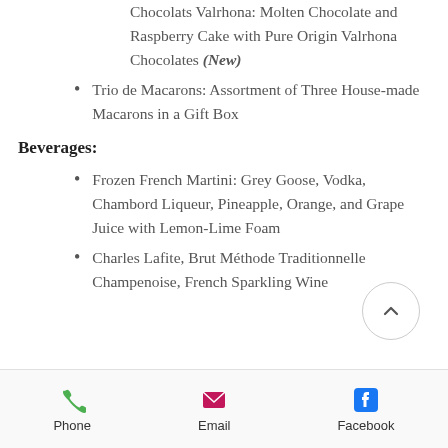Chocolats Valrhona: Molten Chocolate and Raspberry Cake with Pure Origin Valrhona Chocolates (New)
Trio de Macarons: Assortment of Three House-made Macarons in a Gift Box
Beverages:
Frozen French Martini: Grey Goose, Vodka, Chambord Liqueur, Pineapple, Orange, and Grape Juice with Lemon-Lime Foam
Charles Lafite, Brut Méthode Traditionnelle Champenoise, French Sparkling Wine
Phone  Email  Facebook